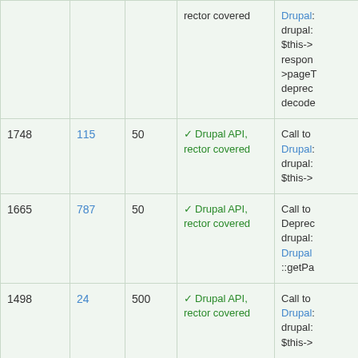|  |  |  |  |  |
| --- | --- | --- | --- | --- |
|  |  |  | rector covered | Drupal
drupal:
$this->
response
>pageT
deprec
decode |
| 1748 | 115 | 50 | ✓ Drupal API, rector covered | Call to
Drupal
drupal:
$this-> |
| 1665 | 787 | 50 | ✓ Drupal API, rector covered | Call to
Deprec
drupal:
Drupal
::getPa |
| 1498 | 24 | 500 | ✓ Drupal API, rector covered | Call to
Drupal
drupal:
$this-> |
| 1139 | 909 | 50 | ⚠ Info.yml or composer.json | Value c
compa
See ht |